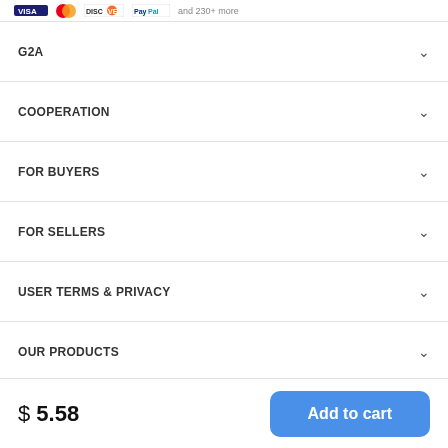[Figure (other): Payment method icons: Visa, Mastercard, Discover, PayPal, and more]
G2A
COOPERATION
FOR BUYERS
FOR SELLERS
USER TERMS & PRIVACY
OUR PRODUCTS
[Figure (other): Social media icons row: G2A, Twitter, G2A, G2A, LinkedIn, G2A, Reddit]
$ 5.58
Add to cart